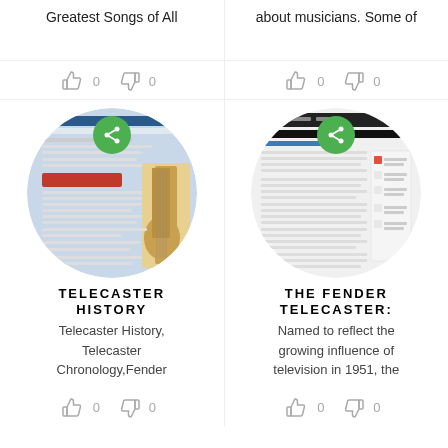Greatest Songs of All
about musicians. Some of
[Figure (screenshot): Circular cropped screenshot of Fender/Telecaster History website with a green share button overlay]
[Figure (screenshot): Circular cropped screenshot of The Fender Telecaster website page with a green share button overlay]
TELECASTER HISTORY
Telecaster History, Telecaster Chronology,Fender
THE FENDER TELECASTER:
Named to reflect the growing influence of television in 1951, the